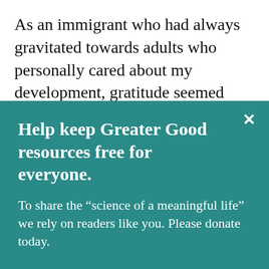As an immigrant who had always gravitated towards adults who personally cared about my development, gratitude seemed particularly valuable to me and to the topic of supporting youth achievement. In 2007, Michael Furlong at
Help keep Greater Good resources free for everyone.
To share the “science of a meaningful life” we rely on readers like you. Please donate today.
Give Now